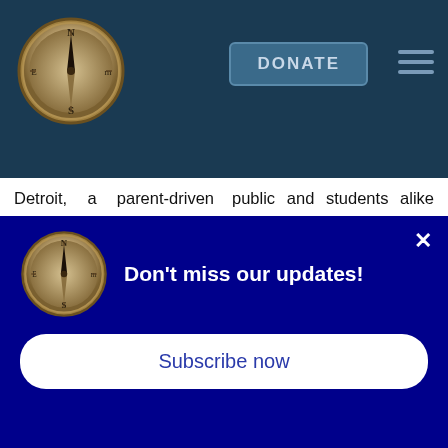[Figure (logo): Compass logo in header navigation bar]
DONATE
Detroit, a parent-driven urban homeschooling advocacy coalition.
public and students alike should know more about the life and accomplishments of the controversial, late 19th- and early 20th-century American banker
[Figure (logo): Compass logo in popup notification]
Don't miss our updates!
Subscribe now